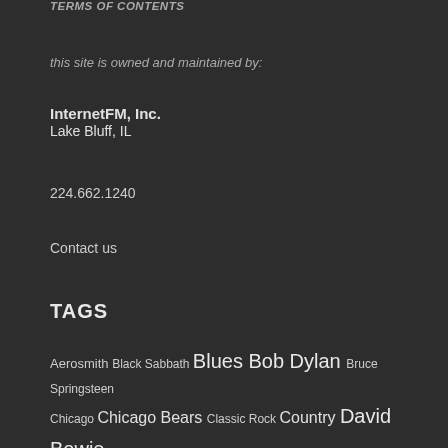TERMS OF CONTENTS
this site is owned and maintained by:
InternetFM, Inc.
Lake Bluff, IL
224.662.1240
Contact us
TAGS
Aerosmith Black Sabbath Blues Bob Dylan Bruce Springsteen Chicago Chicago Bears Classic Rock Country David Bowie Elvis Presley Eric Clapton Folk Genesis Green Bay Packers Jazz Jimi Hendrix John Lennon King Crimson Led Zeppelin Links -